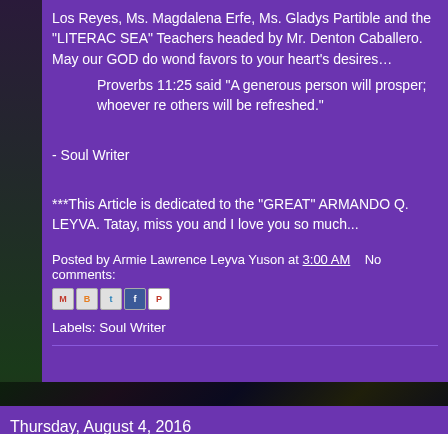Los Reyes, Ms. Magdalena Erfe, Ms. Gladys Partible and the "LITERAC SEA" Teachers headed by Mr. Denton Caballero. May our GOD do wond favors to your heart's desires…
Proverbs 11:25 said "A generous person will prosper; whoever re others will be refreshed."
- Soul Writer
***This Article is dedicated to the "GREAT" ARMANDO Q. LEYVA. Tatay, miss you and I love you so much...
Posted by Armie Lawrence Leyva Yuson at 3:00 AM    No comments:
Labels: Soul Writer
Thursday, August 4, 2016